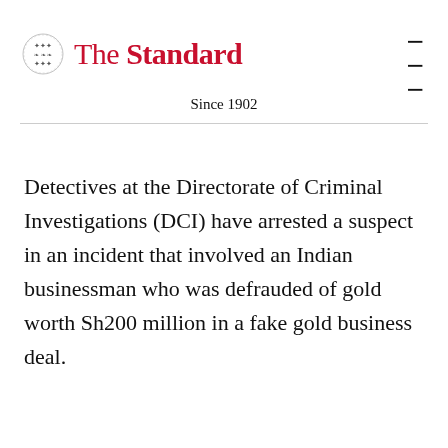The Standard — Since 1902
Detectives at the Directorate of Criminal Investigations (DCI) have arrested a suspect in an incident that involved an Indian businessman who was defrauded of gold worth Sh200 million in a fake gold business deal.